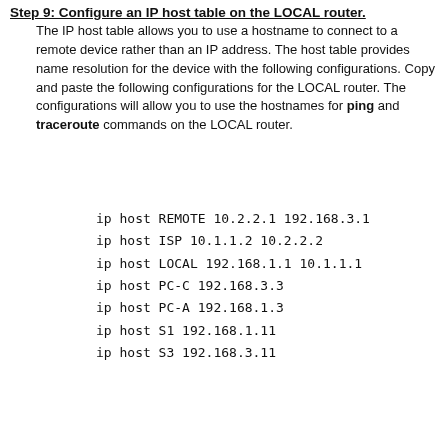Step 9: Configure an IP host table on the LOCAL router.
The IP host table allows you to use a hostname to connect to a remote device rather than an IP address. The host table provides name resolution for the device with the following configurations. Copy and paste the following configurations for the LOCAL router. The configurations will allow you to use the hostnames for ping and traceroute commands on the LOCAL router.
ip host REMOTE 10.2.2.1 192.168.3.1
ip host ISP 10.1.1.2 10.2.2.2
ip host LOCAL 192.168.1.1 10.1.1.1
ip host PC-C 192.168.3.3
ip host PC-A 192.168.1.3
ip host S1 192.168.1.11
ip host S3 192.168.3.11